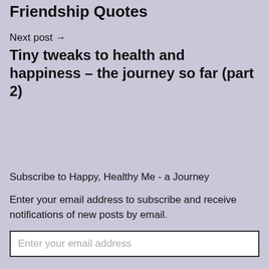Friendship Quotes
Next post →
Tiny tweaks to health and happiness – the journey so far (part 2)
Subscribe to Happy, Healthy Me - a Journey
Enter your email address to subscribe and receive notifications of new posts by email.
Enter your email address